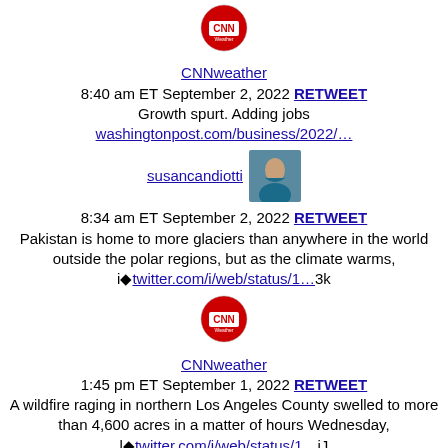[Figure (other): CNN Weather logo avatar (circular red CNN logo)]
CNNweather
8:40 am ET September 2, 2022 RETWEET
Growth spurt. Adding jobs washingtonpost.com/business/2022/…
[Figure (photo): Susan Candiotti profile photo headshot]
susancandiotti
8:34 am ET September 2, 2022 RETWEET
Pakistan is home to more glaciers than anywhere in the world outside the polar regions, but as the climate warms, i◆twitter.com/i/web/status/1…3k
[Figure (other): CNN Weather logo avatar (circular red CNN logo)]
CNNweather
1:45 pm ET September 1, 2022 RETWEET
A wildfire raging in northern Los Angeles County swelled to more than 4,600 acres in a matter of hours Wednesday, l◆twitter.com/i/web/status/1…jJ
[Figure (other): CNN Weather logo avatar (circular red CNN logo)]
CNNweather
10:05 am ET September 1, 2022 RETWEET
California officials are urging residents to conserve energy as a heat wave grips the West. cnn.com/2022/09/01/wea…
[Figure (other): CNN Weather logo avatar (circular red CNN logo)]
CNNweather
4:16 am ET September 1, 2022 RETWEET